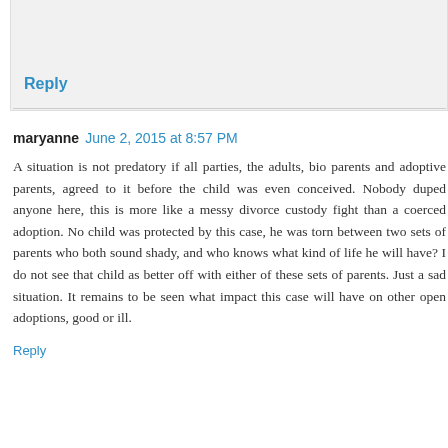Reply
maryanne  June 2, 2015 at 8:57 PM
A situation is not predatory if all parties, the adults, bio parents and adoptive parents, agreed to it before the child was even conceived. Nobody duped anyone here, this is more like a messy divorce custody fight than a coerced adoption. No child was protected by this case, he was torn between two sets of parents who both sound shady, and who knows what kind of life he will have? I do not see that child as better off with either of these sets of parents. Just a sad situation. It remains to be seen what impact this case will have on other open adoptions, good or ill.
Reply